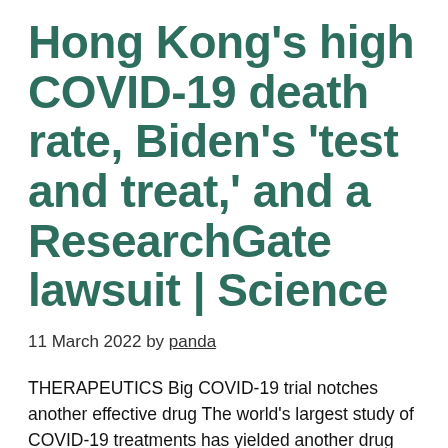Hong Kong's high COVID-19 death rate, Biden's 'test and treat,' and a ResearchGate lawsuit | Science
11 March 2022 by panda
THERAPEUTICS Big COVID-19 trial notches another effective drug The world's largest study of COVID-19 treatments has yielded another drug that can reduce mortality. On 3 March, researchers with the United